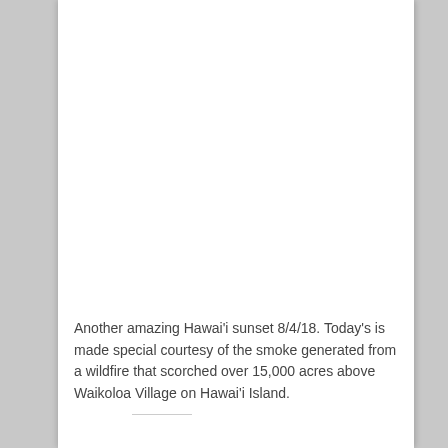[Figure (photo): Sunset landscape photo from Hawai'i showing two conifer trees in a dry golden grass field with a dramatic sky — golden-orange sun setting on the horizon behind clouds, taken 8/4/18 near Waikoloa Village.]
Another amazing Hawai'i sunset 8/4/18. Today's is made special courtesy of the smoke generated from a wildfire that scorched over 15,000 acres above Waikoloa Village on Hawai'i Island.